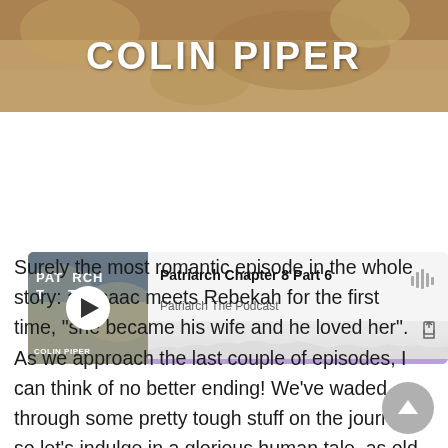[Figure (photo): Banner image showing rocky desert landscape with white bold text 'COLIN PIPER' overlaid]
[Figure (screenshot): Podcast player card showing 'Patriarch Chapter 8 Part 6' episode from 'Patriarch The Podcast', with thumbnail showing play button over rocky landscape image with text 'PATRIARCH T...T' and 'COLIN PIPER', waveform audio icon, share icon, and purple progress bar at bottom]
Surely the most romantic episode in the whole story: as Isaac meets Rebekah for the first time, “she became his wife and he loved her”. As we approach the last couple of episodes, I can think of no better ending! We’ve waded through some pretty tough stuff on the journey, so let’s indulge in a glorious human tale, as old as time itself: love at first sight! www.biblenovels.com